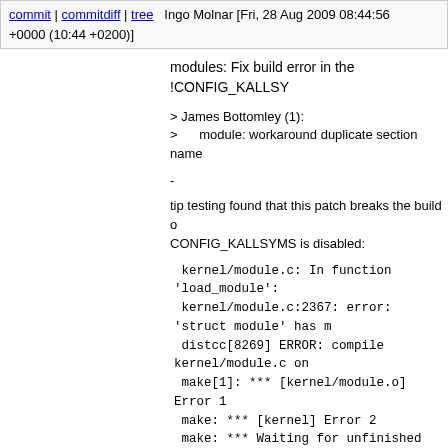commit | commitdiff | tree   Ingo Molnar [Fri, 28 Aug 2009 08:44:56 +0000 (10:44 +0200)]
modules: Fix build error in the !CONFIG_KALLSY...
> James Bottomley (1):
>      module: workaround duplicate section name...
-
tip testing found that this patch breaks the build on...
CONFIG_KALLSYMS is disabled:
kernel/module.c: In function 'load_module':
 kernel/module.c:2367: error: 'struct module' has m...
 distcc[8269] ERROR: compile kernel/module.c on...
 make[1]: *** [kernel/module.o] Error 1
 make: *** [kernel] Error 2
 make: *** Waiting for unfinished jobs....
Commit 1b364bf misses the fact that section attrib...
built and dealt with if kallsyms is enabled. The pat...
this.
( note, technically speaking this should depend on...
  well but this patch is correct too and keeps the #i...
  intrusive - in the KALLSYMS && !SYSFS case th...
Signed-off-by: Ingo Molnar <mingo@elte.hu>
[ Replaced patch with a slightly cleaner variation b...
Signed-off-by: Linus Torvalds...